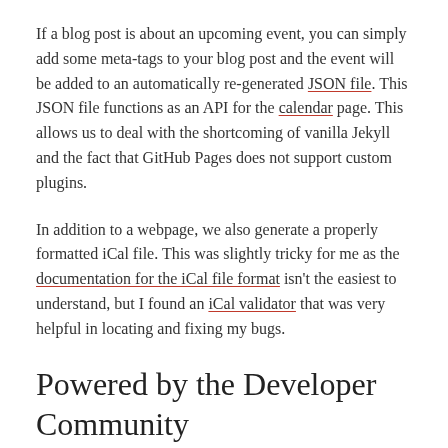If a blog post is about an upcoming event, you can simply add some meta-tags to your blog post and the event will be added to an automatically re-generated JSON file. This JSON file functions as an API for the calendar page. This allows us to deal with the shortcoming of vanilla Jekyll and the fact that GitHub Pages does not support custom plugins.
In addition to a webpage, we also generate a properly formatted iCal file. This was slightly tricky for me as the documentation for the iCal file format isn't the easiest to understand, but I found an iCal validator that was very helpful in locating and fixing my bugs.
Powered by the Developer Community
...